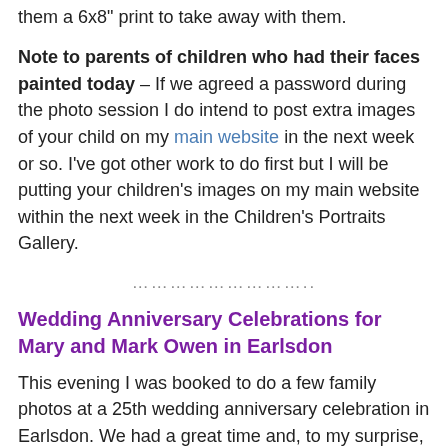them a 6x8" print to take away with them.
Note to parents of children who had their faces painted today – If we agreed a password during the photo session I do intend to post extra images of your child on my main website in the next week or so. I've got other work to do first but I will be putting your children's images on my main website within the next week in the Children's Portraits Gallery.
………………………..
Wedding Anniversary Celebrations for Mary and Mark Owen in Earlsdon
This evening I was booked to do a few family photos at a 25th wedding anniversary celebration in Earlsdon. We had a great time and, to my surprise, the people kept on